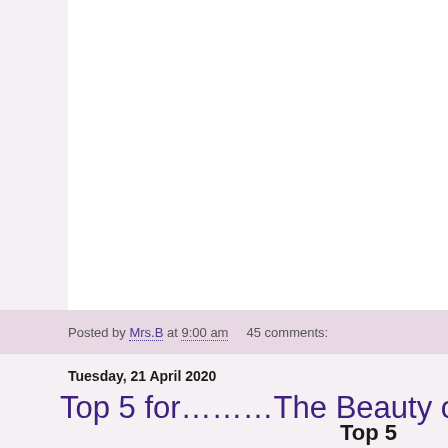[Figure (photo): White image placeholder area at top of page]
Posted by Mrs.B at 9:00 am    45 comments:
Tuesday, 21 April 2020
Top 5 for………The Beauty of Nature
We had an amazing number of lovely and it made it such a hard deci but, here they are in no pa
Top 5